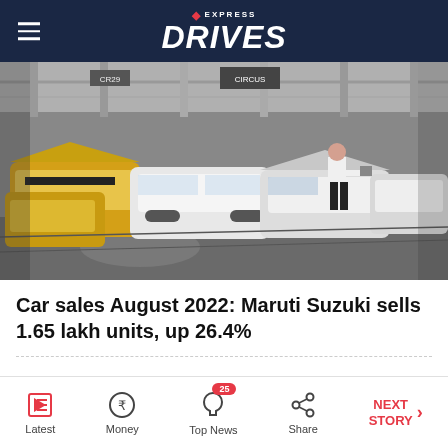EXPRESS DRIVES
[Figure (photo): Car assembly line factory floor showing multiple cars in various colors (yellow, white, grey) being assembled, with a worker inspecting a white car with hood open]
Car sales August 2022: Maruti Suzuki sells 1.65 lakh units, up 26.4%
Latest | Money | Top News (25) | Share | NEXT STORY